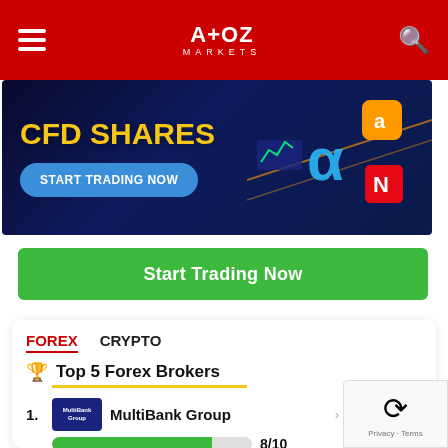A+OZ MARKETS
[Figure (infographic): CFD Shares advertisement banner with 'START TRADING NOW' button and trading platform icons]
Start Trading Now
FOREX  CRYPTO
🏆 Top 5 Forex Brokers
1. MultiBank Group — 8/10 — VISIT BROKER